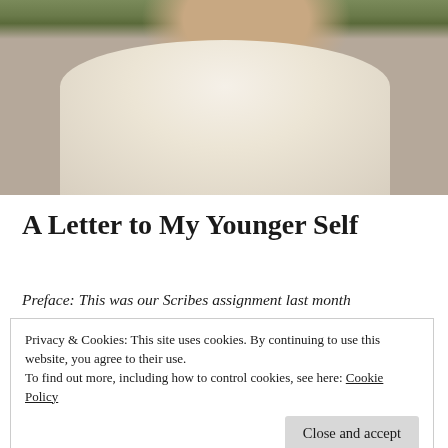[Figure (photo): Cropped photo of a person wearing a white/cream sleeveless tank top, shown from neck/chin down to waist. Background appears to have green foliage at the top. The image is cropped so the face is not visible.]
A Letter to My Younger Self
Preface: This was our Scribes assignment last month
Privacy & Cookies: This site uses cookies. By continuing to use this website, you agree to their use.
To find out more, including how to control cookies, see here: Cookie Policy
Close and accept